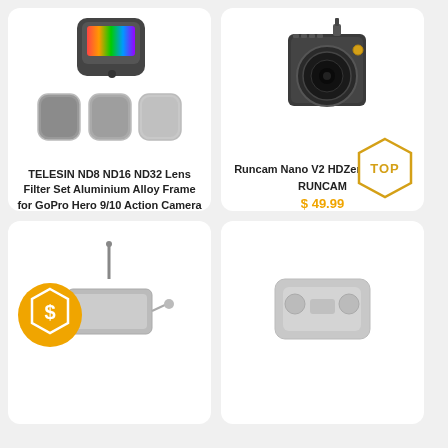[Figure (photo): TELESIN ND8 ND16 ND32 lens filter set product image showing GoPro camera and three square lens filters]
TELESIN ND8 ND16 ND32 Lens Filter Set Aluminium Alloy Frame for GoPro Hero 9/10 Action Camera ND Lens Accessoreis
TELESIN
$ 29.99
[Figure (photo): Runcam Nano V2 HDZero Camera product image showing small FPV camera]
Runcam Nano V2 HDZero Camera
RUNCAM
$ 49.99
[Figure (photo): Bottom left product card partially visible with a deal badge icon]
[Figure (photo): Bottom right product card partially visible]